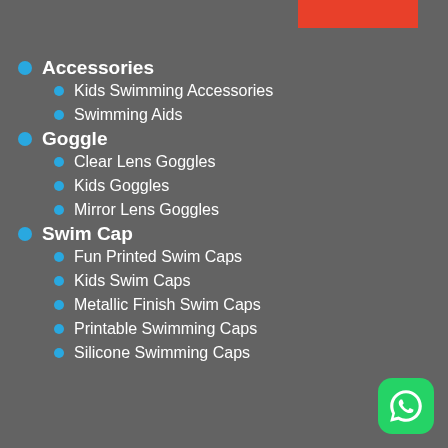Accessories
Kids Swimming Accessories
Swimming Aids
Goggle
Clear Lens Goggles
Kids Goggles
Mirror Lens Goggles
Swim Cap
Fun Printed Swim Caps
Kids Swim Caps
Metallic Finish Swim Caps
Printable Swimming Caps
Silicone Swimming Caps